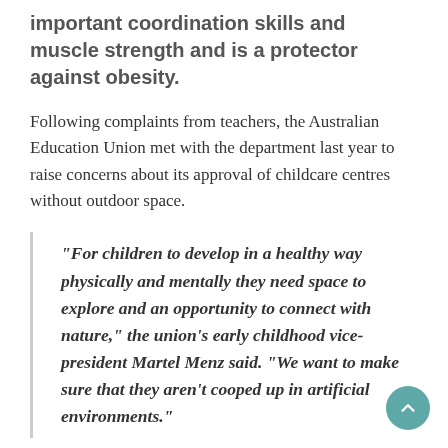important coordination skills and muscle strength and is a protector against obesity.
Following complaints from teachers, the Australian Education Union met with the department last year to raise concerns about its approval of childcare centres without outdoor space.
“For children to develop in a healthy way physically and mentally they need space to explore and an opportunity to connect with nature,” the union’s early childhood vice-president Martel Menz said. “We want to make sure that they aren’t cooped up in artificial environments.”